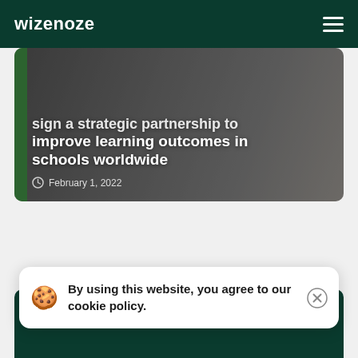wizenoze
[Figure (photo): Two people signing documents at a table, partnership signing scene]
sign a strategic partnership to improve learning outcomes in schools worldwide
February 1, 2022
By using this website, you agree to our cookie policy.